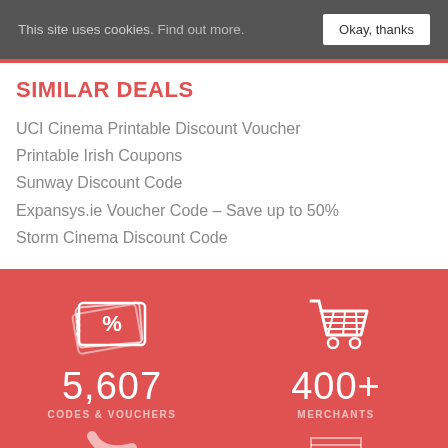This site uses cookies. Find out more. Okay, thanks
SIMILAR DEALS
UCI Cinema Printable Discount Voucher
Printable Irish Coupons
Sunway Discount Code
Expansys.ie Voucher Code – Save up to 50%
Storm Cinema Discount Code
[Figure (infographic): Red background infographic section with two columns: left shows a coupon/ticket icon with percentage symbol, number 5,607 and label CODES & VOUCHERS; right shows a shopping cart icon, number 400+ and label MERCHANTS]
5,607
CODES & VOUCHERS
400+
MERCHANTS